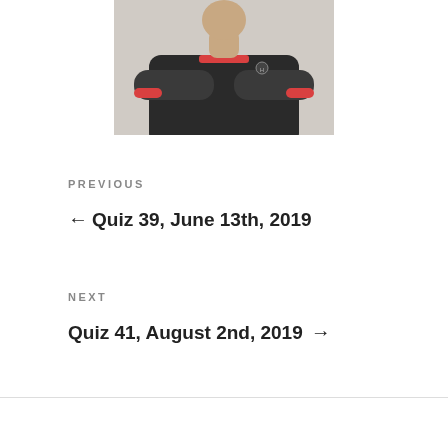[Figure (photo): A man with arms crossed wearing a dark polo shirt with red cuffs and collar trim, photographed from the torso up against a light background.]
PREVIOUS
← Quiz 39, June 13th, 2019
NEXT
Quiz 41, August 2nd, 2019 →